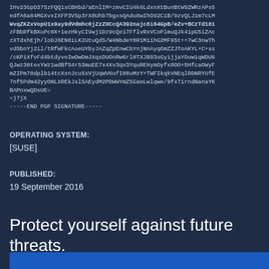IHv23GpD375zFQQ1sCBHbd/aEnlIM+zmvCIU4k6LdxnXtBunBtW9ZWRzAPs5
edfA6a84MGXvxIXFP3VSp3rX8Uhb7bgxsQAdu8wIhO92C1B/9zvQLJ1m7cLM
WvqZKZxVopU1x9ay9dVdmhc0jZzZOCcQA392najc8i84GpB/eZv+BCzTd101
zFBbRfkBXuPc0X+1ezHkyCI9wj1Dz9cQei7FflvRxVCoPlmuQJk41pG5iZAc
zXTdxhEjh/loDJ6EN8iLK2UtuQdS/W4NbdeY0R1MiihG2MF9St++7wC3nwTh
vdSbnYj2il/tRfWFkcAoeUYbyJAZqZpEnwCbYnjNnAyqOmZZJToAKYL+C+ss
/cKPiXfvFd4btdyveIwOwDmJXqsDUOnRw6rl0TXJB93sGyijjaYOuw1qWDU6
QJwz30texYWz1wdBfS4r53muEE7x4Xv3qv3YquREHymOyfx8OO+5HfcaOWyF
mZIPm70dplb14tcXxnJcu5xVjUqWV6ufI08uMzY+TWFIkqkVNEqlRDNRYUfE
7nf5Pdm42yyONLXREkJslSAEydM2PDWWYmZ5GaeLwlqwe/9fx7irndNanaYK
BAPnxwQDsUE=
=j7jX
-----END PGP SIGNATURE-----
OPERATING SYSTEM:
[SUSE]
PUBLISHED:
19 September 2016
Protect yourself against future threats.